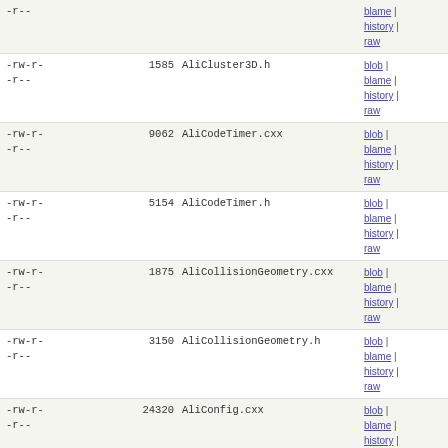| permissions | size | name | links |
| --- | --- | --- | --- |
| -r-- |  |  | blame | history | raw |
| -rw-r--r-- | 1585 | AliCluster3D.h | blob | blame | history | raw |
| -rw-r--r-- | 9062 | AliCodeTimer.cxx | blob | blame | history | raw |
| -rw-r--r-- | 5154 | AliCodeTimer.h | blob | blame | history | raw |
| -rw-r--r-- | 1875 | AliCollisionGeometry.cxx | blob | blame | history | raw |
| -rw-r--r-- | 3150 | AliCollisionGeometry.h | blob | blame | history | raw |
| -rw-r--r-- | 24320 | AliConfig.cxx | blob | blame | history | raw |
| -rw-r--r-- | 5698 | AliConfig.h | blob | blame | history | raw |
| -rw-r--r-- | 343 | AliConst.h | blob | blame | history | raw |
| -rw-r--r-- | 3323 | AliCorrQAChecker.cxx | blob | blame | history | raw |